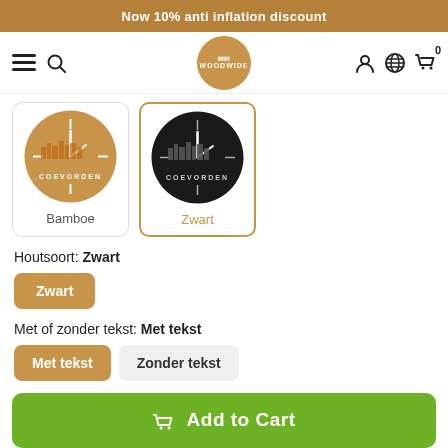Now 10% anti inflation discount
[Figure (screenshot): Woodwide logo in a circular badge with navigation icons (hamburger menu, search, user, globe, cart with 0)]
[Figure (illustration): Two product cards: Bamboe (wooden circular clock) and Zwart (black circular clock), Zwart is selected with orange border]
Houtsoort: Zwart
Zwart (selected button)
Met of zonder tekst: Met tekst
Met tekst (selected), Zonder tekst
Add to Cart